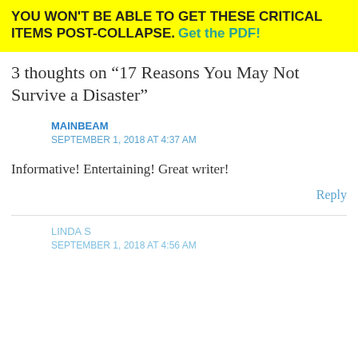YOU WON'T BE ABLE TO GET THESE CRITICAL ITEMS POST-COLLAPSE. Get the PDF!
3 thoughts on “17 Reasons You May Not Survive a Disaster”
MAINBEAM
SEPTEMBER 1, 2018 AT 4:37 AM
Informative! Entertaining! Great writer!
Reply
LINDA S
SEPTEMBER 1, 2018 AT 4:56 AM